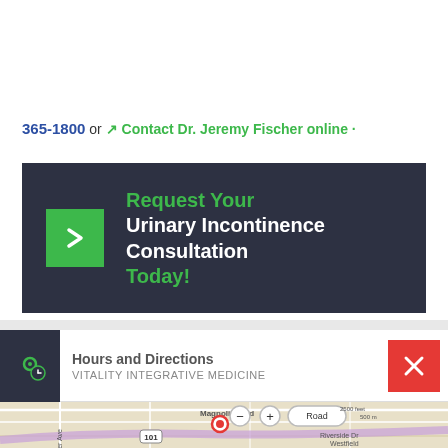365-1800 or ↗ Contact Dr. Jeremy Fischer online ·
[Figure (other): Dark navy CTA box with green arrow button and text: Request Your Urinary Incontinence Consultation Today!]
Hours and Directions
VITALITY INTEGRATIVE MEDICINE
[Figure (map): Street map showing location near Kester Ave and Route 101, with a red pin marker, zoom controls (minus, plus), Road view toggle button, and scale bar showing 2500 feet / 500 m. Shows Magnolia Blvd, Riverside Dr, Westfield Fashion area.]